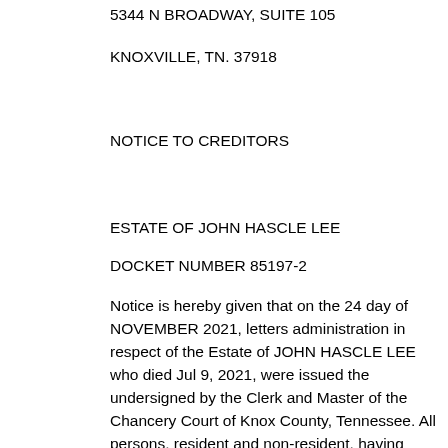5344 N BROADWAY, SUITE 105
KNOXVILLE, TN. 37918
NOTICE TO CREDITORS
ESTATE OF JOHN HASCLE LEE
DOCKET NUMBER 85197-2
Notice is hereby given that on the 24 day of NOVEMBER 2021, letters administration in respect of the Estate of JOHN HASCLE LEE who died Jul 9, 2021, were issued the undersigned by the Clerk and Master of the Chancery Court of Knox County, Tennessee. All persons, resident and non-resident, having claims,